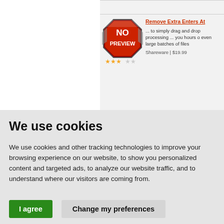[Figure (screenshot): Software listing with NO PREVIEW image (red octagon badge), orange/red title 'Remove Extra Enters At...', description text '... to simply drag and drop processing ... you hours o even large batches of files', star rating, and price 'Shareware | $19.99']
We use cookies
We use cookies and other tracking technologies to improve your browsing experience on our website, to show you personalized content and targeted ads, to analyze our website traffic, and to understand where our visitors are coming from.
I agree   Change my preferences